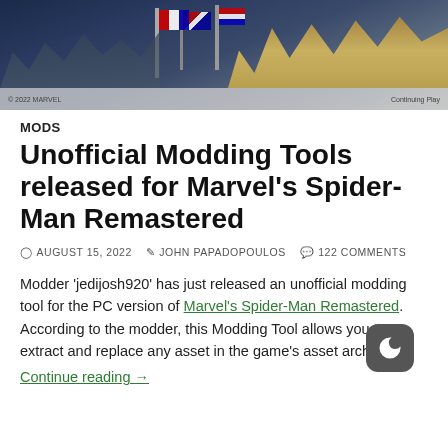[Figure (photo): Hero image showing Spider-Man swinging over a city skyline with flags and buildings visible]
MODS
Unofficial Modding Tools released for Marvel's Spider-Man Remastered
AUGUST 15, 2022  JOHN PAPADOPOULOS  122 COMMENTS
Modder 'jedijosh920' has just released an unofficial modding tool for the PC version of Marvel's Spider-Man Remastered. According to the modder, this Modding Tool allows you to extract and replace any asset in the game's asset archives. Continue reading →